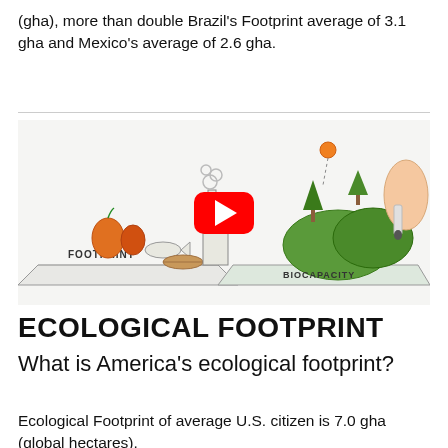(gha), more than double Brazil's Footprint average of 3.1 gha and Mexico's average of 2.6 gha.
[Figure (screenshot): Video thumbnail showing illustrated ecological footprint concept with FOOTPRINT label on left side showing food items, factory, logs, and BIOCAPACITY label on right side showing green landscape, with a red YouTube play button in the center and a hand holding a marker on the right.]
ECOLOGICAL FOOTPRINT
What is America's ecological footprint?
Ecological Footprint of average U.S. citizen is 7.0 gha (global hectares).